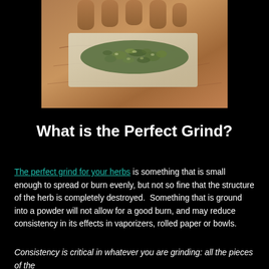[Figure (photo): Photo of ground herb/cannabis on a rolling paper held in a hand, viewed from above on black background]
What is the Perfect Grind?
The perfect grind for your herbs is something that is small enough to spread or burn evenly, but not so fine that the structure of the herb is completely destroyed. Something that is ground into a powder will not allow for a good burn, and may reduce consistency in its effects in vaporizers, rolled paper or bowls.
Consistency is critical in whatever you are grinding: all the pieces of the